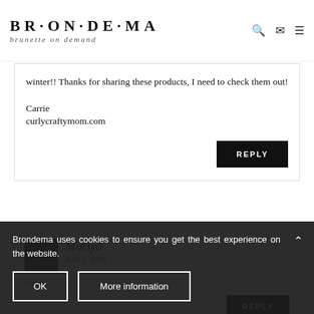BRONDEMA brunette on demand
winter!! Thanks for sharing these products, I need to check them out!
Carrie
curlycraftymom.com
REPLY
Moriya
April 1, 2019
Read...
REPLY
Brondema uses cookies to ensure you get the best experience on the website.
OK
More information